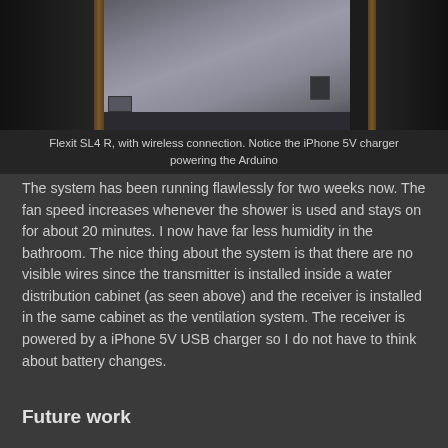[Figure (photo): Photo of Flexit SL4 R ventilation unit with wireless connection installed, showing an iPhone 5V charger powering the Arduino inside a cabinet.]
Flexit SL4 R, with wireless connection. Notice the iPhone 5V charger powering the Arduino
The system has been running flawlessly for two weeks now. The fan speed increases whenever the shower is used and stays on for about 20 minutes. I now have far less humidity in the bathroom. The nice thing about the system is that there are no visible wires since the transmitter is installed inside a water distribution cabinet (as seen above) and the receiver is installed in the same cabinet as the ventilation system. The receiver is powered by a iPhone 5V USB charger so I do not have to think about battery changes.
Future work